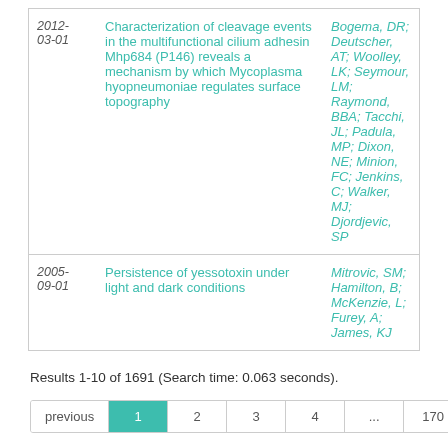| Date | Title | Authors |
| --- | --- | --- |
| 2012-03-01 | Characterization of cleavage events in the multifunctional cilium adhesin Mhp684 (P146) reveals a mechanism by which Mycoplasma hyopneumoniae regulates surface topography | Bogema, DR; Deutscher, AT; Woolley, LK; Seymour, LM; Raymond, BBA; Tacchi, JL; Padula, MP; Dixon, NE; Minion, FC; Jenkins, C; Walker, MJ; Djordjevic, SP |
| 2005-09-01 | Persistence of yessotoxin under light and dark conditions | Mitrovic, SM; Hamilton, B; McKenzie, L; Furey, A; James, KJ |
Results 1-10 of 1691 (Search time: 0.063 seconds).
previous | 1 | 2 | 3 | 4 | ... | 170 | next